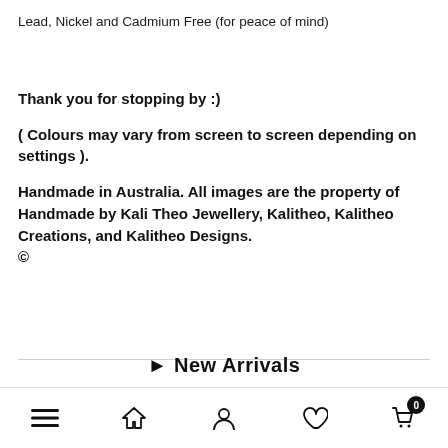Lead, Nickel and Cadmium Free (for peace of mind)
Thank you for stopping by :)
( Colours may vary from screen to screen depending on settings ).
Handmade in Australia. All images are the property of Handmade by Kali Theo Jewellery, Kalitheo, Kalitheo Creations, and Kalitheo Designs.
©
New Arrivals
Navigation bar with menu, home, account, heart, and cart (0) icons